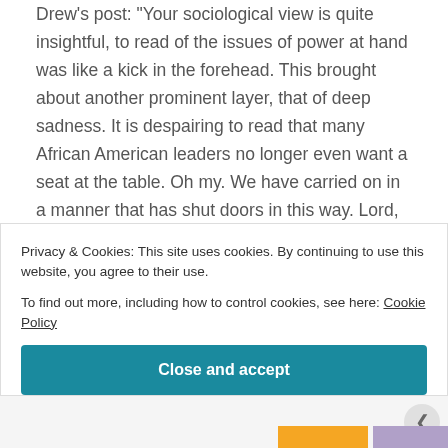Drew's post: "Your sociological view is quite insightful, to read of the issues of power at hand was like a kick in the forehead. This brought about another prominent layer, that of deep sadness. It is despairing to read that many African American leaders no longer even want a seat at the table. Oh my. We have carried on in a manner that has shut doors in this way. Lord, have mercy on us.
To think that, as a white male who has said such things as "a voice at the table", etc., I may be more
Privacy & Cookies: This site uses cookies. By continuing to use this website, you agree to their use.
To find out more, including how to control cookies, see here: Cookie Policy
Close and accept